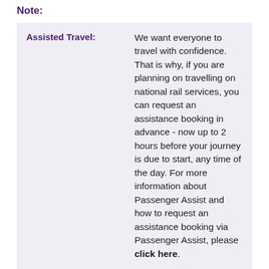Note:
| Assisted Travel: |  |
| --- | --- |
| Assisted Travel: | We want everyone to travel with confidence. That is why, if you are planning on travelling on national rail services, you can request an assistance booking in advance - now up to 2 hours before your journey is due to start, any time of the day. For more information about Passenger Assist and how to request an assistance booking via Passenger Assist, please click here. |
The information in this document was generated 30/08/2022 19:35:26